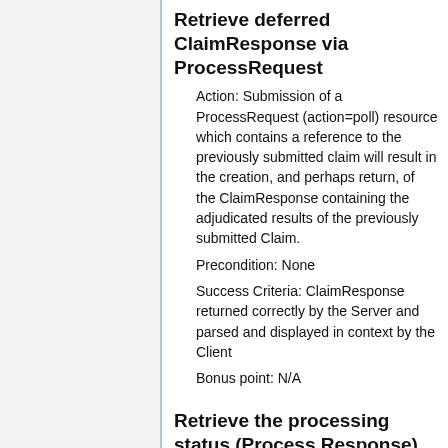Retrieve deferred ClaimResponse via ProcessRequest
Action: Submission of a ProcessRequest (action=poll) resource which contains a reference to the previously submitted claim will result in the creation, and perhaps return, of the ClaimResponse containing the adjudicated results of the previously submitted Claim.
Precondition: None
Success Criteria: ClaimResponse returned correctly by the Server and parsed and displayed in context by the Client
Bonus point: N/A
Retrieve the processing status (ProcessResponse) by...